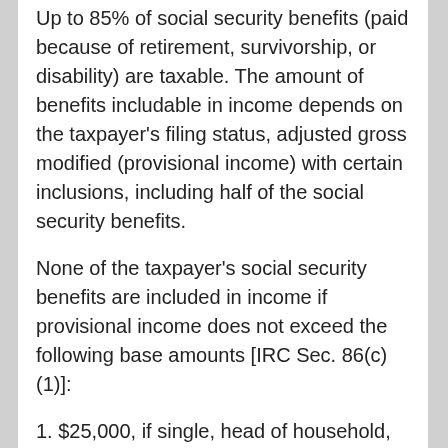Up to 85% of social security benefits (paid because of retirement, survivorship, or disability) are taxable. The amount of benefits includable in income depends on the taxpayer's filing status, adjusted gross modified (provisional income) with certain inclusions, including half of the social security benefits.
None of the taxpayer's social security benefits are included in income if provisional income does not exceed the following base amounts [IRC Sec. 86(c)(1)]:
1. $25,000, if single, head of household, qualifying widow, or married but filing a separate return and the taxpayer did not live with spouse at any time during the year.
2. $32,000, if married filing a joint return.